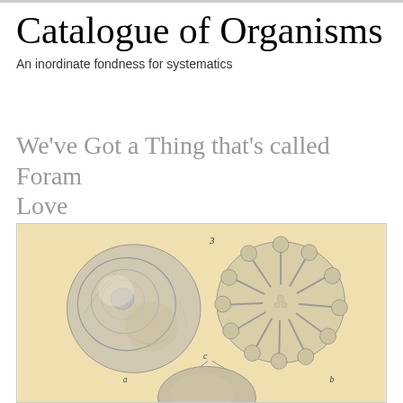Catalogue of Organisms
An inordinate fondness for systematics
We've Got a Thing that's called Foram Love
[Figure (illustration): Scientific illustration of foraminifera specimens on a cream/tan background. Shows three foram shells: (a) left spiral view of a rounded foram, (b) right foram with radiating ribs and lobes, and (c) a partially visible third specimen at bottom center. Labels 'a', 'b', 'c' and '3' are visible.]